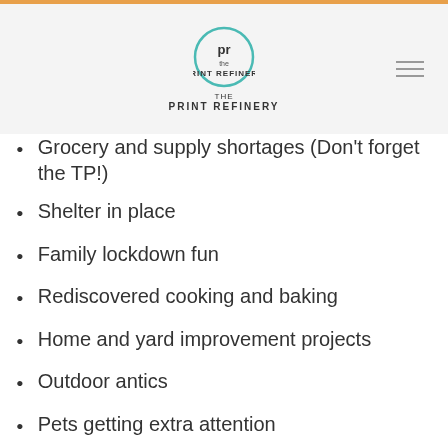The Print Refinery
Grocery and supply shortages (Don't forget the TP!)
Shelter in place
Family lockdown fun
Rediscovered cooking and baking
Home and yard improvement projects
Outdoor antics
Pets getting extra attention
Virtual work and school
Zoom calls. Lots and lots of Zoom calls.
Masking up